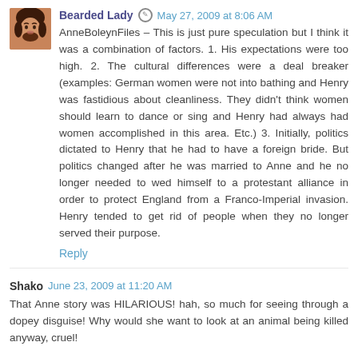Bearded Lady  May 27, 2009 at 8:06 AM
AnneBoleynFiles – This is just pure speculation but I think it was a combination of factors. 1. His expectations were too high. 2. The cultural differences were a deal breaker (examples: German women were not into bathing and Henry was fastidious about cleanliness. They didn't think women should learn to dance or sing and Henry had always had women accomplished in this area. Etc.) 3. Initially, politics dictated to Henry that he had to have a foreign bride. But politics changed after he was married to Anne and he no longer needed to wed himself to a protestant alliance in order to protect England from a Franco-Imperial invasion. Henry tended to get rid of people when they no longer served their purpose.
Reply
Shako  June 23, 2009 at 11:20 AM
That Anne story was HILARIOUS! hah, so much for seeing through a dopey disguise! Why would she want to look at an animal being killed anyway, cruel!